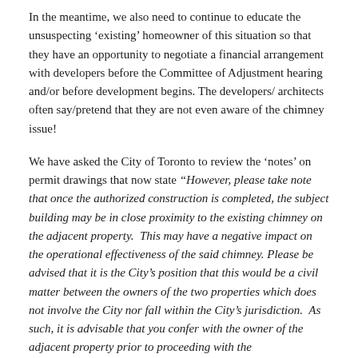In the meantime, we also need to continue to educate the unsuspecting 'existing' homeowner of this situation so that they have an opportunity to negotiate a financial arrangement with developers before the Committee of Adjustment hearing and/or before development begins. The developers/ architects often say/pretend that they are not even aware of the chimney issue!
We have asked the City of Toronto to review the 'notes' on permit drawings that now state "However, please take note that once the authorized construction is completed, the subject building may be in close proximity to the existing chimney on the adjacent property. This may have a negative impact on the operational effectiveness of the said chimney. Please be advised that it is the City's position that this would be a civil matter between the owners of the two properties which does not involve the City nor fall within the City's jurisdiction. As such, it is advisable that you confer with the owner of the adjacent property prior to proceeding with the construction." The City should also state that the issue...